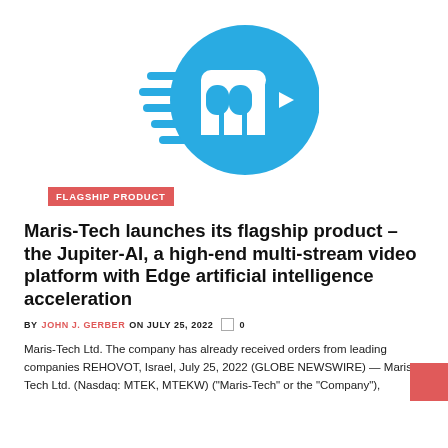[Figure (logo): Maris-Tech company logo: a blue circle with a stylized white 'm' letterform and blue horizontal speed lines to the left]
FLAGSHIP PRODUCT
Maris-Tech launches its flagship product – the Jupiter-AI, a high-end multi-stream video platform with Edge artificial intelligence acceleration
BY JOHN J. GERBER ON JULY 25, 2022  0
Maris-Tech Ltd. The company has already received orders from leading companies REHOVOT, Israel, July 25, 2022 (GLOBE NEWSWIRE) — Maris-Tech Ltd. (Nasdaq: MTEK, MTEKW) ("Maris-Tech" or the "Company"),